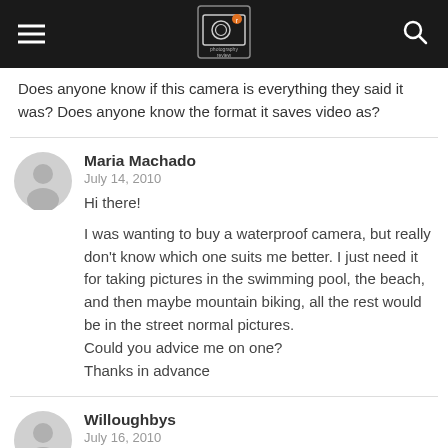Photography Review header navigation bar
Does anyone know if this camera is everything they said it was? Does anyone know the format it saves video as?
Maria Machado
July 14, 2010
Hi there!

I was wanting to buy a waterproof camera, but really don't know which one suits me better. I just need it for taking pictures in the swimming pool, the beach, and then maybe mountain biking, all the rest would be in the street normal pictures.
Could you advice me on one?
Thanks in advance
Willoughbys
July 16, 2010